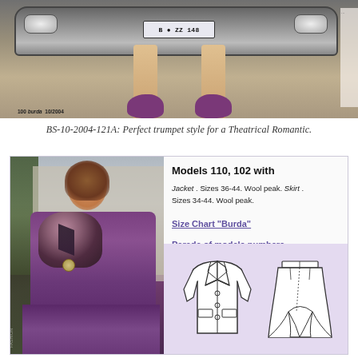[Figure (photo): Fashion magazine photo showing woman's legs in purple heels sitting on/in front of a car with license plate 'BZZ 148...' with page number 100 burda visible]
BS-10-2004-121A: Perfect trumpet style for a Theatrical Romantic.
[Figure (photo): Woman wearing purple wool jacket and skirt suit with fur scarf accessory, standing outdoors near a building with ivy]
Models 110, 102 with
Jacket . Sizes 36-44. Wool peak. Skirt . Sizes 34-44. Wool peak.
Size Chart "Burda"
Parade of models numbers
[Figure (illustration): Sewing pattern technical drawings showing front view of jacket with buttons and lapels, and back/front view of a flared skirt]